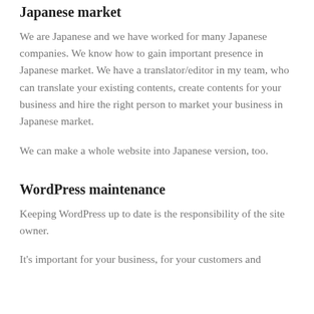Japanese market
We are Japanese and we have worked for many Japanese companies. We know how to gain important presence in Japanese market. We have a translator/editor in my team, who can translate your existing contents, create contents for your business and hire the right person to market your business in Japanese market.
We can make a whole website into Japanese version, too.
WordPress maintenance
Keeping WordPress up to date is the responsibility of the site owner.
It's important for your business, for your customers and